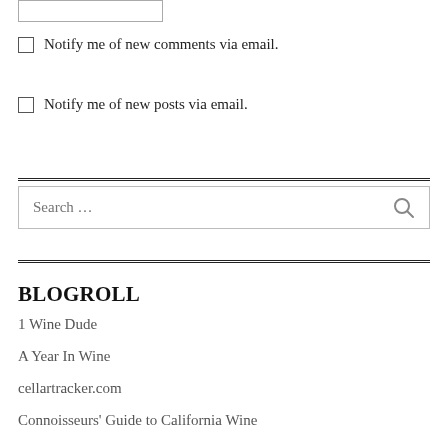☐ Notify me of new comments via email.
☐ Notify me of new posts via email.
Search …
BLOGROLL
1 Wine Dude
A Year In Wine
cellartracker.com
Connoisseurs' Guide to California Wine